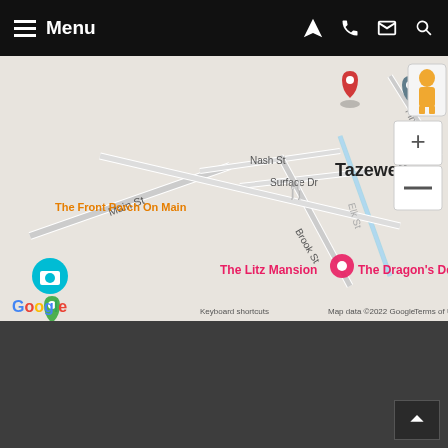Menu
[Figure (map): Google Maps view of Tazewell, Virginia showing streets including Main St, Nash St, Brook St, Elk St, Surface Dr, with landmarks: The Front Porch On Main, The Litz Mansion, The Dragon's Den. Map data ©2022 Google.]
[Figure (logo): Altizer, Walk and White PLLC law firm logo with scales of justice inside a green circle]
CALL FOR A CONSULTATION
877-695-0258
164 Main Street | Tazewell, Virginia 24651